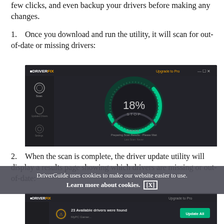few clicks, and even backup your drivers before making any changes.
1. Once you download and run the utility, it will scan for out-of-date or missing drivers:
[Figure (screenshot): DriverFix application screenshot showing a scanning progress circle at 18% with 'STOP' button and text 'Scanning... Preparing Scan Results - Please Wait / Last Scan: Never']
2. When the scan is complete, the driver update utility will display a results page showing which drivers are missing or out-of-date:
DriverGuide uses cookies to make our website easier to use. Learn more about cookies. [X]
[Figure (screenshot): DriverFix results screenshot showing '23 Available drivers were found' with an 'Update All' button]